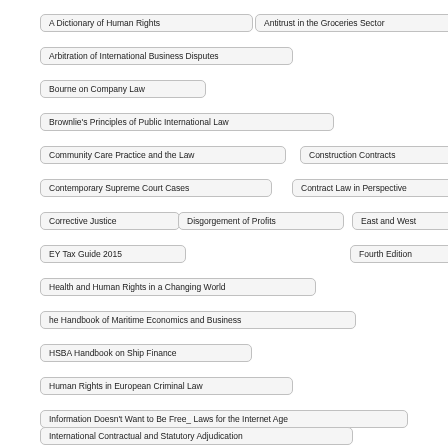A Dictionary of Human Rights
Antitrust in the Groceries Sector
Arbitration of International Business Disputes
Bourne on Company Law
Brownlie's Principles of Public International Law
Community Care Practice and the Law
Construction Contracts
Contemporary Supreme Court Cases
Contract Law in Perspective
Corrective Justice
Disgorgement of Profits
East and West
EY Tax Guide 2015
Fourth Edition
Health and Human Rights in a Changing World
he Handbook of Maritime Economics and Business
HSBA Handbook on Ship Finance
Human Rights in European Criminal Law
Information Doesn't Want to Be Free_ Laws for the Internet Age
International Contractual and Statutory Adjudication
International Human Rights Law